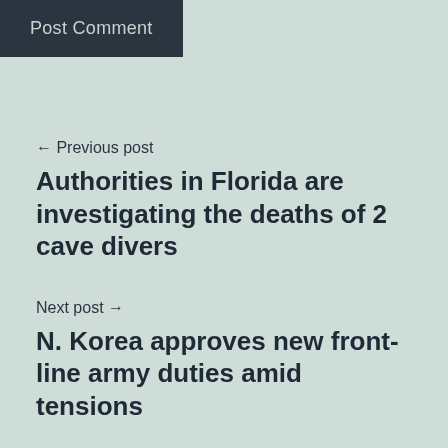Post Comment
← Previous post
Authorities in Florida are investigating the deaths of 2 cave divers
Next post →
N. Korea approves new front-line army duties amid tensions